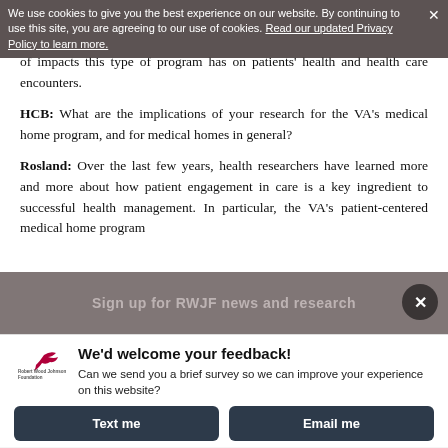We use cookies to give you the best experience on our website. By continuing to use this site, you are agreeing to our use of cookies. Read our updated Privacy Policy to learn more.
of impacts this type of program has on patients' health and health care encounters.
HCB: What are the implications of your research for the VA's medical home program, and for medical homes in general?
Rosland: Over the last few years, health researchers have learned more and more about how patient engagement in care is a key ingredient to successful health management. In particular, the VA's patient-centered medical home program
Sign up for RWJF news and research
We'd welcome your feedback!
Can we send you a brief survey so we can improve your experience on this website?
Text me
Email me
Powered by ForeSee